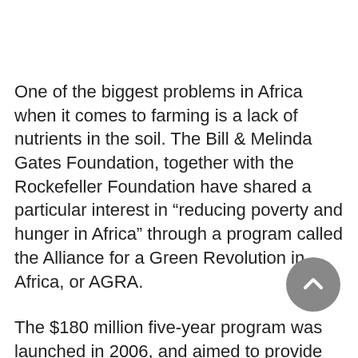One of the biggest problems in Africa when it comes to farming is a lack of nutrients in the soil. The Bill & Melinda Gates Foundation, together with the Rockefeller Foundation have shared a particular interest in “reducing poverty and hunger in Africa” through a program called the Alliance for a Green Revolution in Africa, or AGRA.
The $180 million five-year program was launched in 2006, and aimed to provide African farmers with Western-style agricultural techniques, including reliance on fertilizer and weedkillers and planting single crops, such as corn.
Million Belay, a food sovereignty activist in Ethiopia, as well as other critics have said that their approach may not